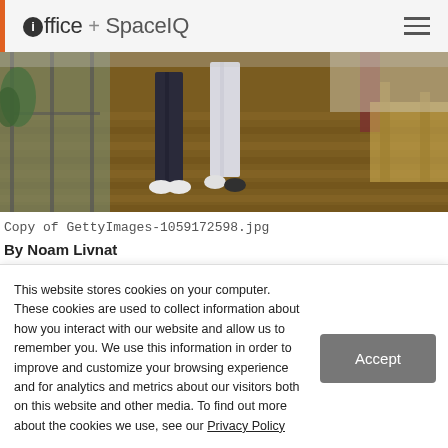ioffice + SpaceIQ
[Figure (photo): Office hallway scene showing lower halves of people walking on wooden floor, with glass walls and office furniture visible]
Copy of GettyImages-1059172598.jpg
By Noam Livnat
Chief Product & Innovation Officer
SpaceIQ
This website stores cookies on your computer. These cookies are used to collect information about how you interact with our website and allow us to remember you. We use this information in order to improve and customize your browsing experience and for analytics and metrics about our visitors both on this website and other media. To find out more about the cookies we use, see our Privacy Policy